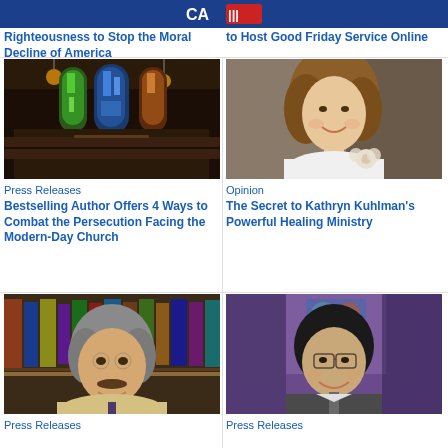Righteousness to Stop the Moral Decline of America
to Host Good Friday Service Online
[Figure (photo): Church interior with stained glass windows and pews, warm lighting]
Press Releases
Bestselling Author Offers 4 Ways to Combat the Persecution Facing the Modern-Day Church
[Figure (photo): Woman with curly hair smiling, wearing white turtleneck with flower accessory]
Opinion
The Secret to Kathryn Kuhlman's Powerful Healing Ministry
[Figure (photo): Man with gray hair and mustache smiling, wearing light suit jacket, bookshelves in background]
Press Releases
[Figure (photo): Man smiling in front of colorful stained glass background, wearing suit and tie]
Press Releases